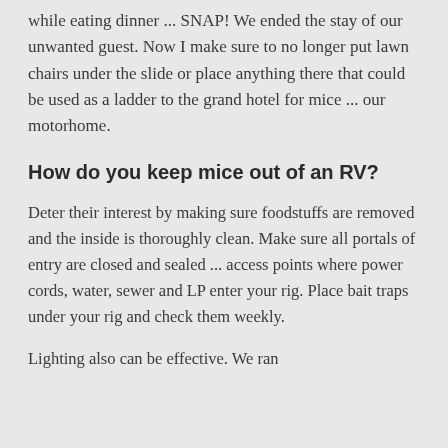while eating dinner ... SNAP! We ended the stay of our unwanted guest.  Now I make sure to no longer put lawn chairs under the slide or place anything there that could be used as a ladder to the grand hotel for mice ... our motorhome.
How do you keep mice out of an RV?
Deter their interest by making sure foodstuffs are removed and the inside is thoroughly clean. Make sure all portals of entry are closed and sealed ... access points where power cords, water, sewer and LP enter your rig.  Place bait traps under your rig and check them weekly.
Lighting also can be effective. We ran